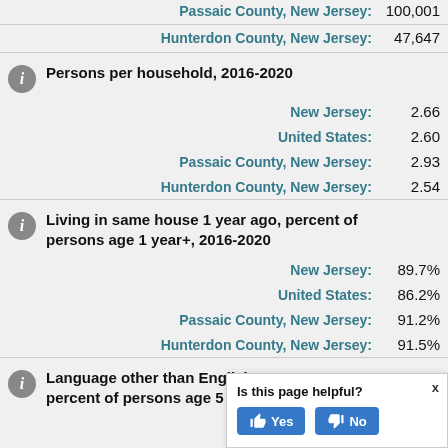Passaic County, New Jersey: 100,001
Hunterdon County, New Jersey: 47,647
Persons per household, 2016-2020
New Jersey: 2.66
United States: 2.60
Passaic County, New Jersey: 2.93
Hunterdon County, New Jersey: 2.54
Living in same house 1 year ago, percent of persons age 1 year+, 2016-2020
New Jersey: 89.7%
United States: 86.2%
Passaic County, New Jersey: 91.2%
Hunterdon County, New Jersey: 91.5%
Language other than English percent of persons age 5 year
[Figure (infographic): Is this page helpful? popup with Yes and No buttons and close X]